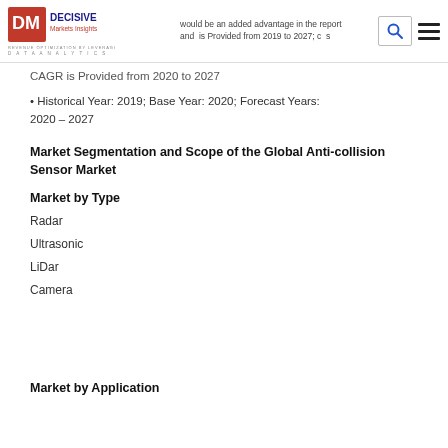Decisive Markets Insights – would be an added advantage in the report. Data is Provided from 2019 to 2027; CAGR is Provided from 2020 to 2027
CAGR is Provided from 2020 to 2027
• Historical Year: 2019; Base Year: 2020; Forecast Years: 2020 – 2027
Market Segmentation and Scope of the Global Anti-collision Sensor Market
Market by Type
Radar
Ultrasonic
LiDar
Camera
Market by Application